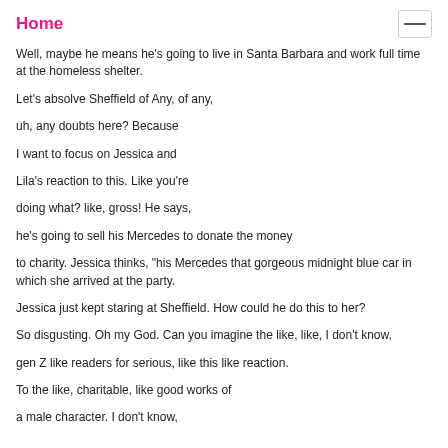Home
Well, maybe he means he's going to live in Santa Barbara and work full time at the homeless shelter.
Let's absolve Sheffield of Any, of any,
uh, any doubts here? Because
I want to focus on Jessica and
Lila's reaction to this. Like you're
doing what? like, gross! He says,
he's going to sell his Mercedes to donate the money
to charity. Jessica thinks, "his Mercedes that gorgeous midnight blue car in which she arrived at the party.
Jessica just kept staring at Sheffield. How could he do this to her?
So disgusting. Oh my God. Can you imagine the like, like, I don't know,
gen Z like readers for serious, like this like reaction.
To the like, charitable, like good works of
a male character. I don't know,